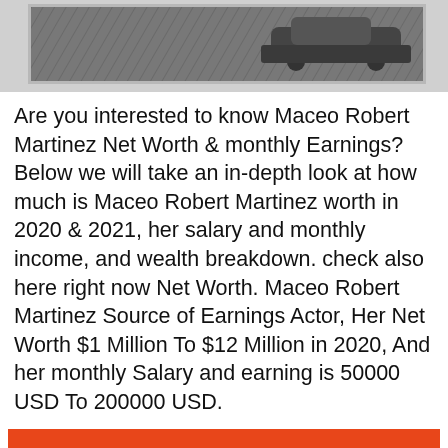[Figure (photo): Partial photo of a car on a grey background, shown at top of page]
Are you interested to know Maceo Robert Martinez Net Worth & monthly Earnings? Below we will take an in-depth look at how much is Maceo Robert Martinez worth in 2020 & 2021, her salary and monthly income, and wealth breakdown. check also here right now Net Worth. Maceo Robert Martinez Source of Earnings Actor, Her Net Worth $1 Million To $12 Million in 2020, And her monthly Salary and earning is 50000 USD To 200000 USD.
| Net Worth |
| --- |
| Net Worth | $1 Million To $12 Million |
| Monthly Earnings | 50000 USD To 200000 USD |
| Source of Earnings | Actor |